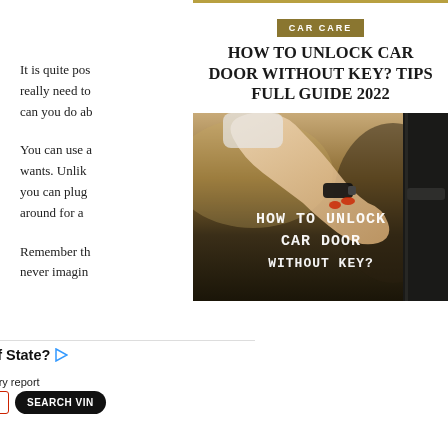It is quite possible that you really need to... can you do about it...
You can use a... wants. Unlike... you can plug... around for a...
Remember that... never imagining...
CAR CARE
HOW TO UNLOCK CAR DOOR WITHOUT KEY? TIPS FULL GUIDE 2022
[Figure (photo): A hand with red nails holding a car key fob near a car door lock, with overlaid text reading 'HOW TO UNLOCK CAR DOOR WITHOUT KEY?']
[Figure (infographic): Advertisement banner: 'Buying A Used Car Out of State? Research the car's history report' with Bumper VIN lookup tool showing a VIN Number input field and SEARCH VIN button]